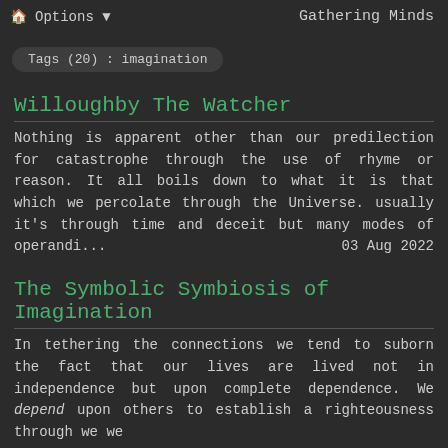🏠 Options ▼   Gathering Minds
Tags (20) : imagination
Willoughby The Watcher
Nothing is apparent other than our predilection for catastrophe through the use of rhyme or reason. It all boils down to what it is that which we percolate through the Universe. usually it's through time and deceit but many modes of operandi...   03 Aug 2022
The Symbolic Symbiosis of Imagination
In tethering the connections we tend to suborn the fact that our lives are lived not in independence but upon complete dependence. We depend upon others to establish a righteousness through we we